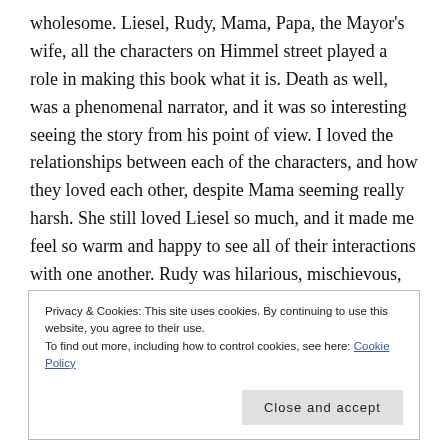wholesome. Liesel, Rudy, Mama, Papa, the Mayor's wife, all the characters on Himmel street played a role in making this book what it is. Death as well, was a phenomenal narrator, and it was so interesting seeing the story from his point of view. I loved the relationships between each of the characters, and how they loved each other, despite Mama seeming really harsh. She still loved Liesel so much, and it made me feel so warm and happy to see all of their interactions with one another. Rudy was hilarious, mischievous, and very much a saukerl. Papa was kind, patient, and adoring. Mama was harsh, loud, but still loving underneath. The Mayor's wife was quiet, kind, and so
Privacy & Cookies: This site uses cookies. By continuing to use this website, you agree to their use. To find out more, including how to control cookies, see here: Cookie Policy
him so much. One thing I didn't expect was for me to like